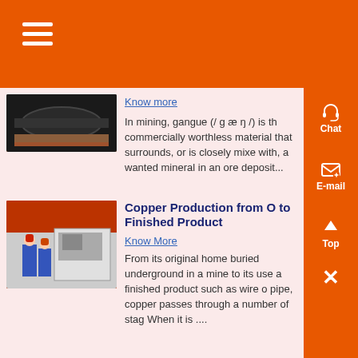Navigation menu header bar
[Figure (photo): Industrial machinery or pipe component, dark metal on brownish background]
Know more
In mining, gangue (/ g æ ŋ /) is the commercially worthless material that surrounds, or is closely mixed with, a wanted mineral in an ore deposit...
[Figure (photo): Workers in blue uniforms and red helmets operating industrial machinery in a factory]
Copper Production from O to Finished Product
Know More
From its original home buried underground in a mine to its use a finished product such as wire or pipe, copper passes through a number of stag When it is ....